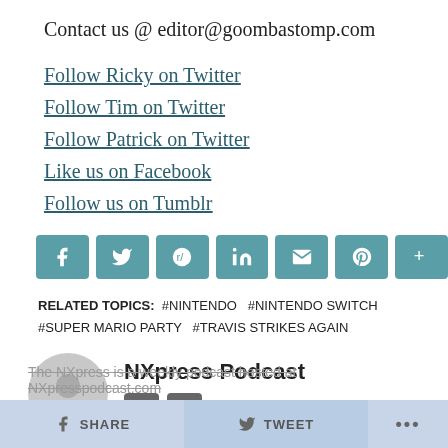Contact us @ editor@goombastomp.com
Follow Ricky on Twitter
Follow Tim on Twitter
Follow Patrick on Twitter
Like us on Facebook
Follow us on Tumblr
[Figure (infographic): Row of 7 social sharing icon buttons (Facebook, Twitter, Reddit, LinkedIn, Email, Pinterest, More) in teal/muted green color]
RELATED TOPICS: #NINTENDO #NINTENDO SWITCH #SUPER MARIO PARTY #TRAVIS STRIKES AGAIN
NXpress Podcast
The NXpress is a weekly podcast hosted at NXpresspodcast.com